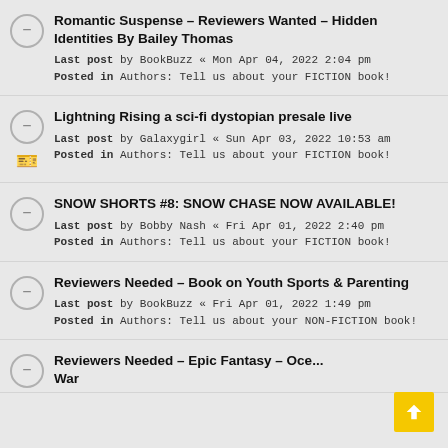Romantic Suspense - Reviewers Wanted - Hidden Identities By Bailey Thomas
Last post by BookBuzz « Mon Apr 04, 2022 2:04 pm
Posted in Authors: Tell us about your FICTION book!
Lightning Rising a sci-fi dystopian presale live
Last post by Galaxygirl « Sun Apr 03, 2022 10:53 am
Posted in Authors: Tell us about your FICTION book!
SNOW SHORTS #8: SNOW CHASE NOW AVAILABLE!
Last post by Bobby Nash « Fri Apr 01, 2022 2:40 pm
Posted in Authors: Tell us about your FICTION book!
Reviewers Needed - Book on Youth Sports & Parenting
Last post by BookBuzz « Fri Apr 01, 2022 1:49 pm
Posted in Authors: Tell us about your NON-FICTION book!
Reviewers Needed - Epic Fantasy - Oce... War